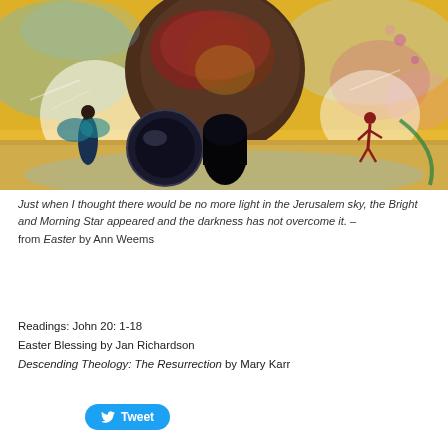[Figure (illustration): Colorful painting depicting a tomb scene with a large dark rock/cave entrance, rolled-away stone, figures on left and right, yellow and blue background suggesting sky and earth. Easter resurrection imagery.]
Just when I thought there would be no more light in the Jerusalem sky, the Bright and Morning Star appeared and the darkness has not overcome it. – from Easter by Ann Weems
Readings: John 20: 1-18
Easter Blessing by Jan Richardson
Descending Theology: The Resurrection by Mary Karr